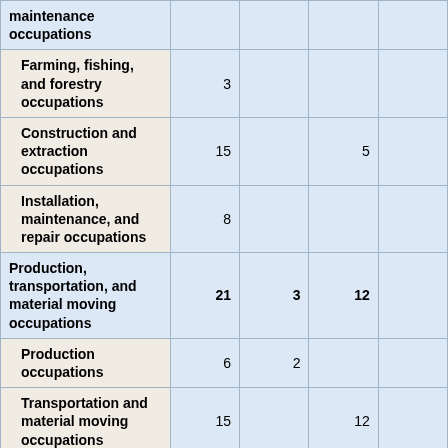| Occupation | Col1 | Col2 | Col3 | Col4 |
| --- | --- | --- | --- | --- |
| maintenance occupations |  |  |  |  |
| Farming, fishing, and forestry occupations | 3 |  |  |  |
| Construction and extraction occupations | 15 |  | 5 |  |
| Installation, maintenance, and repair occupations | 8 |  |  |  |
| Production, transportation, and material moving occupations | 21 | 3 | 12 |  |
| Production occupations | 6 | 2 |  |  |
| Transportation and material moving occupations | 15 |  | 12 |  |